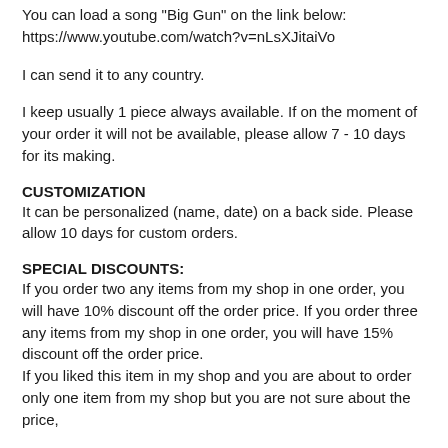You can load a song "Big Gun" on the link below: https://www.youtube.com/watch?v=nLsXJitaiVo
I can send it to any country.
I keep usually 1 piece always available. If on the moment of your order it will not be available, please allow 7 - 10 days for its making.
CUSTOMIZATION
It can be personalized (name, date) on a back side. Please allow 10 days for custom orders.
SPECIAL DISCOUNTS:
If you order two any items from my shop in one order, you will have 10% discount off the order price. If you order three any items from my shop in one order, you will have 15% discount off the order price.
If you liked this item in my shop and you are about to order only one item from my shop but you are not sure about the price, please drop me a message and I will try to arrange a special...